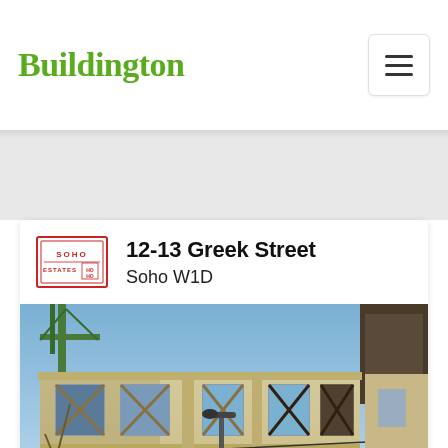Buildington
[Figure (logo): Soho Estates logo - red square stamp style logo with SOHO ESTATES text]
12-13 Greek Street
Soho W1D
[Figure (photo): Exterior photo of 12-13 Greek Street building in Soho, showing a Georgian/Victorian era building facade with windows braced with X-shaped wooden supports, green construction cranes visible above rooftop, a street lamp in front, and a blue circular direction sign at street level. Sky is blue.]